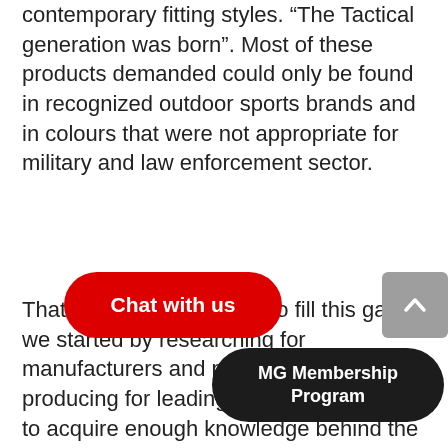contemporary fitting styles. “The Tactical generation was born”. Most of these products demanded could only be found in recognized outdoor sports brands and in colours that were not appropriate for military and law enforcement sector.
That is when we decided to fill this gap, we started by researching for manufacturers and partners that were producing for leading outdoor companies to acquire enough knowledge behind the technology of modern fabric construction and material functionality, and how important high quality trims can be.
W[Chat with us]e art of pattern and we made our o[...]camo® and Gra[...]®[...] achieve the perfect fit for high a[MG Membership Program] incorporating comfort and aesthetic which was